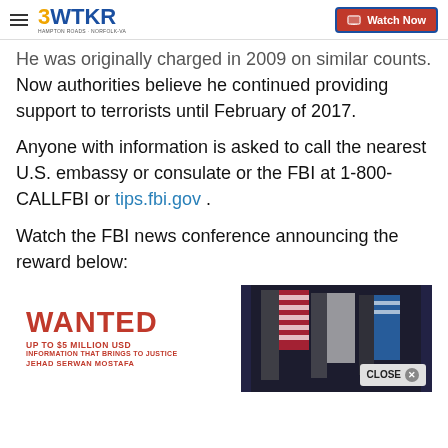3WTKR — Watch Now
He was originally charged in 2009 on similar counts. Now authorities believe he continued providing support to terrorists until February of 2017.
Anyone with information is asked to call the nearest U.S. embassy or consulate or the FBI at 1-800-CALLFBI or tips.fbi.gov .
Watch the FBI news conference announcing the reward below:
[Figure (photo): FBI WANTED poster for JEHAD SERWAN MOSTAFA showing 'WANTED UP TO $5 MILLION USD INFORMATION THAT BRINGS TO JUSTICE' with American flags in background. A CLOSE button is visible in bottom right.]